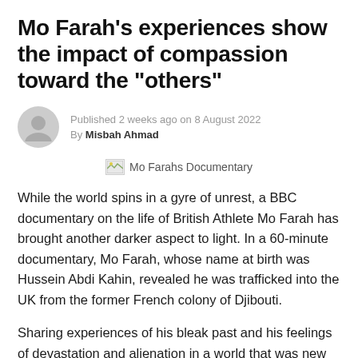Mo Farah's experiences show the impact of compassion toward the “others”
Published 2 weeks ago on 8 August 2022
By Misbah Ahmad
[Figure (photo): Broken image placeholder with caption: Mo Farahs Documentary]
Mo Farahs Documentary
While the world spins in a gyre of unrest, a BBC documentary on the life of British Athlete Mo Farah has brought another darker aspect to light. In a 60-minute documentary, Mo Farah, whose name at birth was Hussein Abdi Kahin, revealed he was trafficked into the UK from the former French colony of Djibouti.
Sharing experiences of his bleak past and his feelings of devastation and alienation in a world that was new to him Farah told the BBC how the conflict in his birthplace of